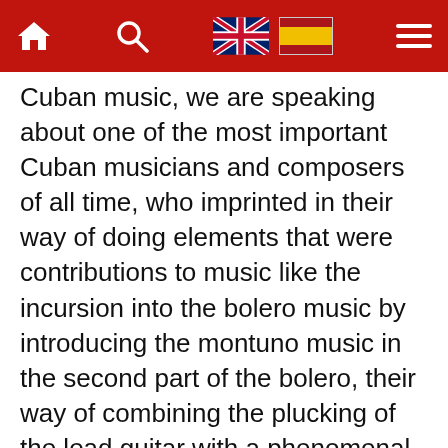[Navigation bar with home icon, search icon, UK flag, Spain flag, hamburger menu]
Cuban music, we are speaking about one of the most important Cuban musicians and composers of all time, who imprinted in their way of doing elements that were contributions to music like the incursion into the bolero music by introducing the montuno music in the second part of the bolero, their way of combining the plucking of the lead guitar with a phenomenal accompanying guitar, joined by the second voice and the duet of voices, fusing everything with the trova music. All these elements form that Matamoros style, a seal that we try to enrich in our days but that undoubtedly have us committed.
"Now with the celebration on May 8th precisely the day of Miguel's birth, 127 years